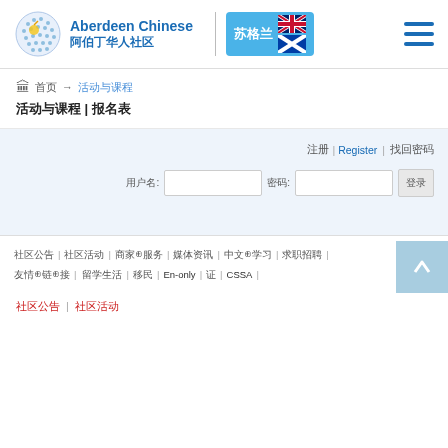Aberdeen Chinese 阿伯丁华人社区 | 苏格兰 [Scotland flags]
🏛 首页 → 活动与课程
活动与课程 | 报名表
注册|Register | 找回密码
用户名: [input] 密码: [input] [登录]
社区公告 | 社区活动 | 商家⊕服务 | 媒体资讯 | 中文⊕学习 | 求职招聘 | 友情⊕链⊕接 | 留学生活 | 移民 | En-only | 证 | CSSA |
社区公告 | 社区活动